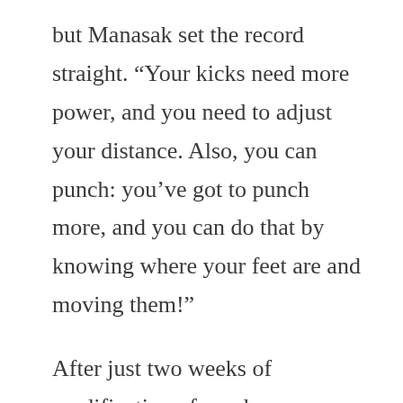but Manasak set the record straight. “Your kicks need more power, and you need to adjust your distance. Also, you can punch: you’ve got to punch more, and you can do that by knowing where your feet are and moving them!”
After just two weeks of modification of nearly a decade’s worth of habit, I have a lot of work ahead of me: lots and lots of practice. Crucially, I have guidance and feedback: Manasak is fanatical about technique and